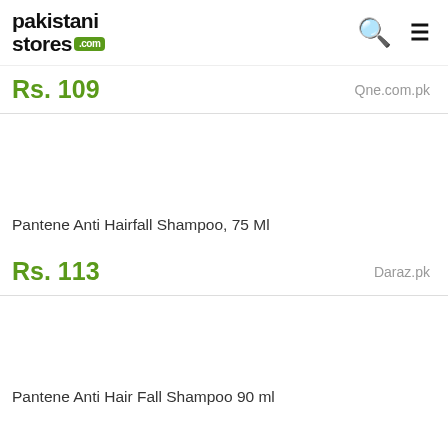pakistanistores.com
Rs. 109   Qne.com.pk
[Figure (photo): Product image placeholder area (white space)]
Pantene Anti Hairfall Shampoo, 75 Ml
Rs. 113   Daraz.pk
[Figure (photo): Product image placeholder area (white space)]
Pantene Anti Hair Fall Shampoo 90 ml